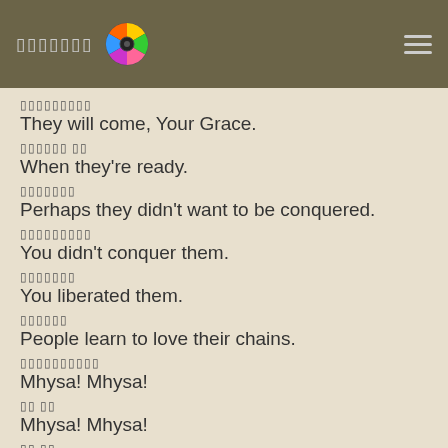▯▯▯▯▯▯▯
▯▯▯▯▯▯▯▯▯
They will come, Your Grace.
▯▯▯▯▯▯ ▯▯
When they're ready.
▯▯▯▯▯▯▯
Perhaps they didn't want to be conquered.
▯▯▯▯▯▯▯▯▯
You didn't conquer them.
▯▯▯▯▯▯▯
You liberated them.
▯▯▯▯▯▯
People learn to love their chains.
▯▯▯▯▯▯▯▯▯▯
Mhysa! Mhysa!
▯▯ ▯▯
Mhysa! Mhysa!
▯▯ ▯▯
Mhysa! Mhysa! Mhysa!
▯▯ ▯▯ ▯▯